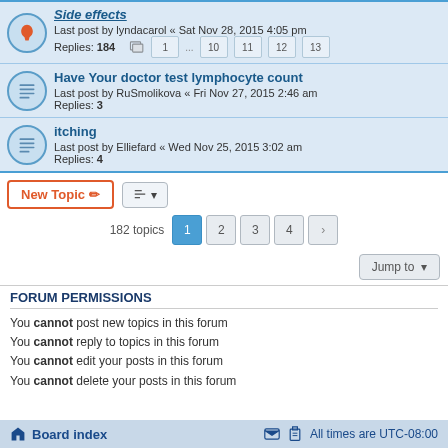Side effects — Last post by lyndacarol « Sat Nov 28, 2015 4:05 pm — Replies: 184
Have Your doctor test lymphocyte count — Last post by RuSmolikova « Fri Nov 27, 2015 2:46 am — Replies: 3
itching — Last post by Elliefard « Wed Nov 25, 2015 3:02 am — Replies: 4
182 topics  1  2  3  4  >
Jump to
FORUM PERMISSIONS
You cannot post new topics in this forum
You cannot reply to topics in this forum
You cannot edit your posts in this forum
You cannot delete your posts in this forum
Board index  —  All times are UTC-08:00